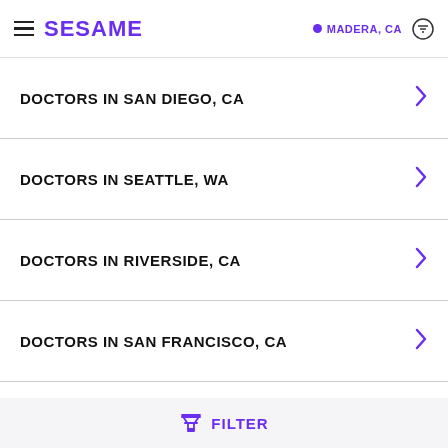SESAME | MADERA, CA
DOCTORS IN SAN DIEGO, CA
DOCTORS IN SEATTLE, WA
DOCTORS IN RIVERSIDE, CA
DOCTORS IN SAN FRANCISCO, CA
DOCTORS IN PORTLAND, OR
FILTER